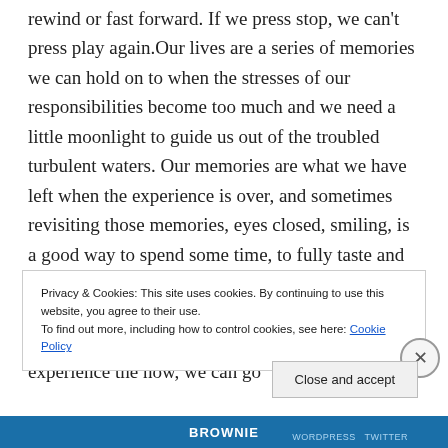rewind or fast forward.  If we press stop, we can't press play again.Our lives are a series of memories we can hold on to when the stresses of our responsibilities become too much and we need a little moonlight to guide us out of the troubled turbulent waters.  Our memories are what we have left when the experience is over, and sometimes revisiting those memories, eyes closed, smiling, is a good way to spend some time, to fully taste and savor the delicate blending of smells, colours, emotions that an experience can give us if we truly dive in to it and enjoy it for what it is.  If we truly experience the now, we can go
Privacy & Cookies: This site uses cookies. By continuing to use this website, you agree to their use.
To find out more, including how to control cookies, see here: Cookie Policy
Close and accept